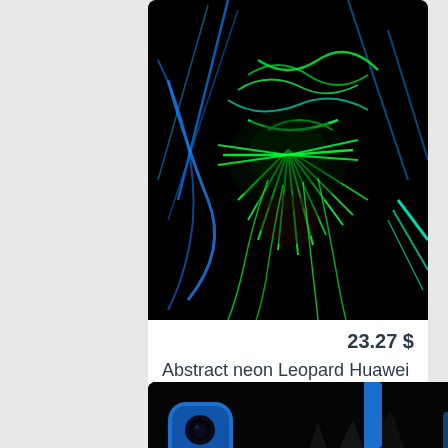[Figure (photo): Phone case product image showing abstract neon leopard design with glowing green and blue neon lines on black background, displayed on a Huawei P Smart+ / Nova 3i phone case]
23.27 $
Abstract neon Leopard Huawei P Smart + / Nova 3i case
[Figure (photo): Bottom portion of a phone case with blue camera module surround on black background, showing a cat-themed dark design]